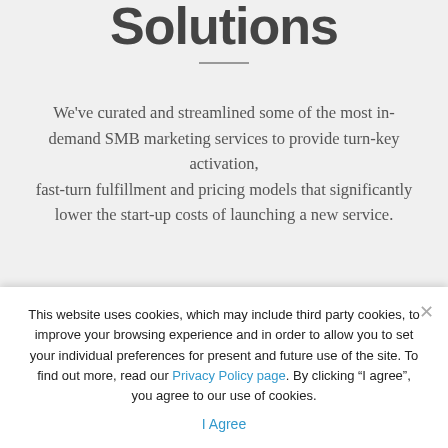Solutions
We've curated and streamlined some of the most in-demand SMB marketing services to provide turn-key activation, fast-turn fulfillment and pricing models that significantly lower the start-up costs of launching a new service.
Our Sales Enablement solution supports each service with end-to-end support to get revenue
This website uses cookies, which may include third party cookies, to improve your browsing experience and in order to allow you to set your individual preferences for present and future use of the site. To find out more, read our Privacy Policy page. By clicking “I agree”, you agree to our use of cookies.
I Agree